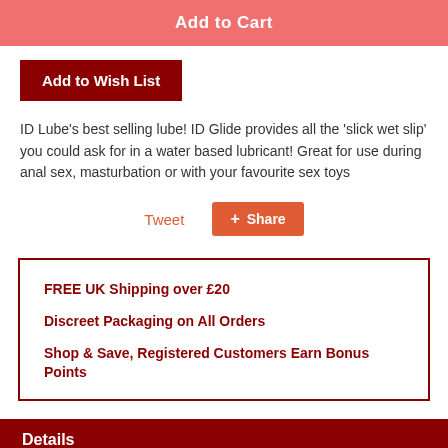[Figure (other): Add to Cart button (pink/salmon background)]
[Figure (other): Add to Wish List button (dark red background)]
ID Lube's best selling lube! ID Glide provides all the 'slick wet slip' you could ask for in a water based lubricant! Great for use during anal sex, masturbation or with your favourite sex toys
[Figure (other): Tweet link and Share button (social sharing row)]
FREE UK Shipping over £20
Discreet Packaging on All Orders
Shop & Save, Registered Customers Earn Bonus Points
Details